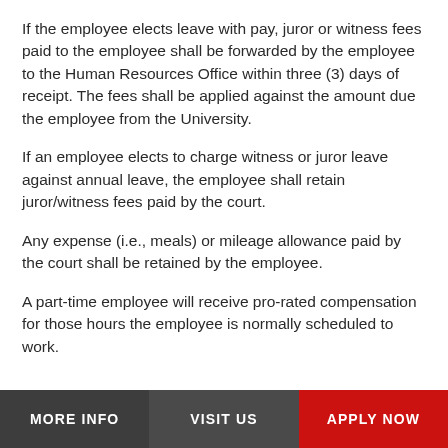If the employee elects leave with pay, juror or witness fees paid to the employee shall be forwarded by the employee to the Human Resources Office within three (3) days of receipt. The fees shall be applied against the amount due the employee from the University.
If an employee elects to charge witness or juror leave against annual leave, the employee shall retain juror/witness fees paid by the court.
Any expense (i.e., meals) or mileage allowance paid by the court shall be retained by the employee.
A part-time employee will receive pro-rated compensation for those hours the employee is normally scheduled to work.
MORE INFO   VISIT US   APPLY NOW